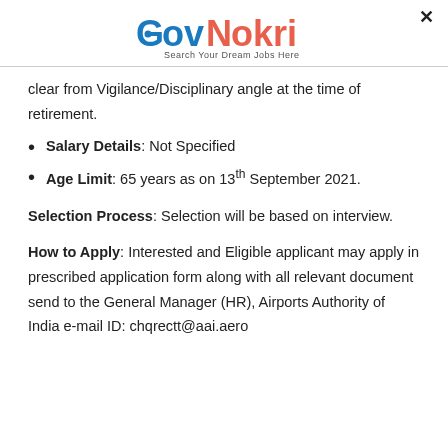GovNokri — Search Your Dream Jobs Here
clear from Vigilance/Disciplinary angle at the time of retirement.
Salary Details: Not Specified
Age Limit: 65 years as on 13th September 2021.
Selection Process: Selection will be based on interview.
How to Apply: Interested and Eligible applicant may apply in prescribed application form along with all relevant document send to the General Manager (HR), Airports Authority of India e-mail ID: chqrectt@aai.aero